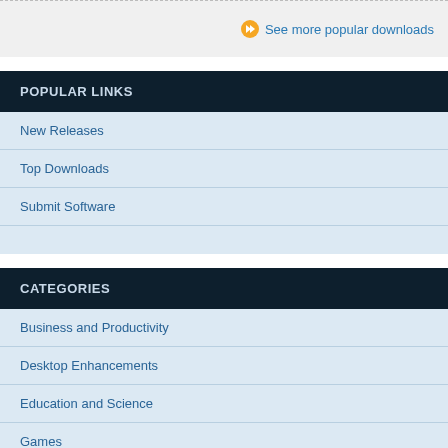See more popular downloads
POPULAR LINKS
New Releases
Top Downloads
Submit Software
CATEGORIES
Business and Productivity
Desktop Enhancements
Education and Science
Games
Graphics and Drawing
Home, Family and Leisure
Internet